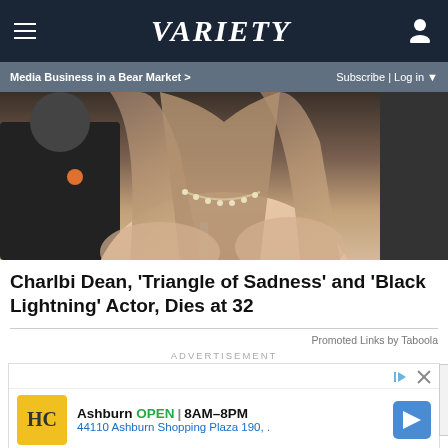VARIETY — Media Business in a Bear Market > | Subscribe | Log in
[Figure (photo): Close-up photo of a woman with long wavy brown hair wearing a diamond necklace, with people visible in the background]
Charlbi Dean, 'Triangle of Sadness' and 'Black Lightning' Actor, Dies at 32
Promoted Links by Taboola
ADVERTISEMENT
[Figure (screenshot): Advertisement for HC showing Ashburn OPEN 8AM-8PM, 44110 Ashburn Shopping Plaza 190, with navigation icon]